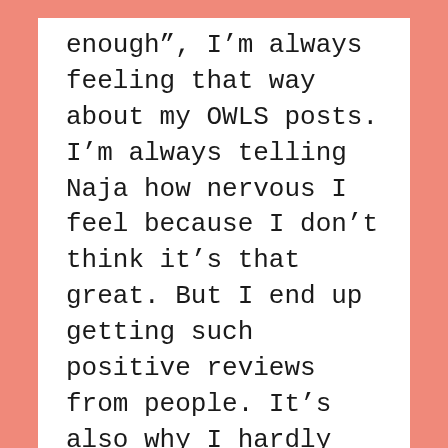enough”, I’m always feeling that way about my OWLS posts. I’m always telling Naja how nervous I feel because I don’t think it’s that great. But I end up getting such positive reviews from people. It’s also why I hardly post my architectural posts also because I don’t think they’re up to par by my standards.
despite those downsides I